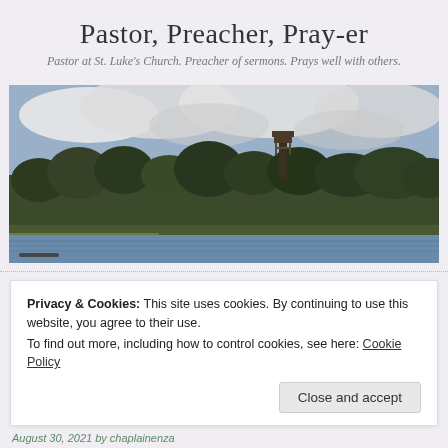Pastor, Preacher, Pray-er
Pastor at St. Luke's Church. Preacher of sermons. Prays well with others.
[Figure (photo): Wide landscape photo showing a river or lake in the foreground with bare trees, dense woodland, and a tall wooden bell tower or observation tower rising above the treeline against a partly cloudy sky.]
Privacy & Cookies: This site uses cookies. By continuing to use this website, you agree to their use.
To find out more, including how to control cookies, see here: Cookie Policy
Close and accept
August 30, 2021 by chaplainenza